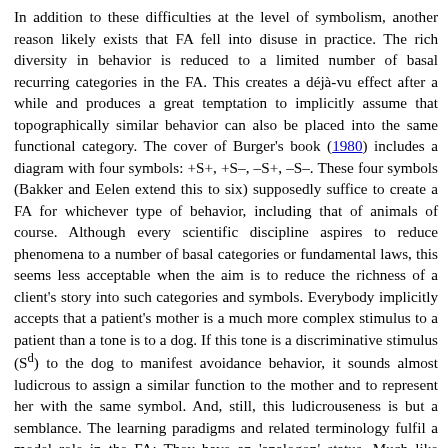In addition to these difficulties at the level of symbolism, another reason likely exists that FA fell into disuse in practice. The rich diversity in behavior is reduced to a limited number of basal recurring categories in the FA. This creates a déjà-vu effect after a while and produces a great temptation to implicitly assume that topographically similar behavior can also be placed into the same functional category. The cover of Burger's book (1980) includes a diagram with four symbols: +S+, +S–, –S+, –S–. These four symbols (Bakker and Eelen extend this to six) supposedly suffice to create a FA for whichever type of behavior, including that of animals of course. Although every scientific discipline aspires to reduce phenomena to a number of basal categories or fundamental laws, this seems less acceptable when the aim is to reduce the richness of a client's story into such categories and symbols. Everybody implicitly accepts that a patient's mother is a much more complex stimulus to a patient than a tone is to a dog. If this tone is a discriminative stimulus (Sd) to the dog to manifest avoidance behavior, it sounds almost ludicrous to assign a similar function to the mother and to represent her with the same symbol. And, still, this ludicrouseness is but a semblance. The learning paradigms and related terminology fulfil a model role in the FA: They have an 'analogon' status. Much like everybody knows that humans are not computers, yet it is rather easily accepted that 'pretending as if' with a computer might be useful to formalise its behavior using the same conceptual framework. The basal FA